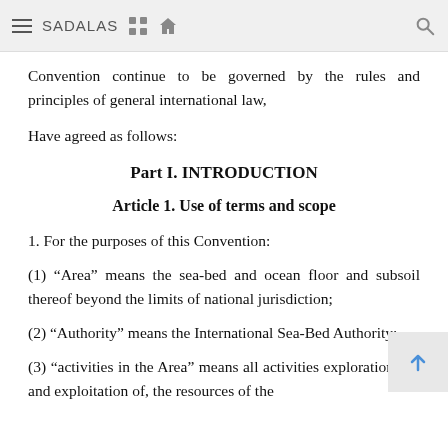SADALAS
Convention continue to be governed by the rules and principles of general international law,
Have agreed as follows:
Part I. INTRODUCTION
Article 1. Use of terms and scope
1. For the purposes of this Convention:
(1) "Area" means the sea-bed and ocean floor and subsoil thereof beyond the limits of national jurisdiction;
(2) "Authority" means the International Sea-Bed Authority;
(3) "activities in the Area" means all activities exploration for, and exploitation of, the resources of the